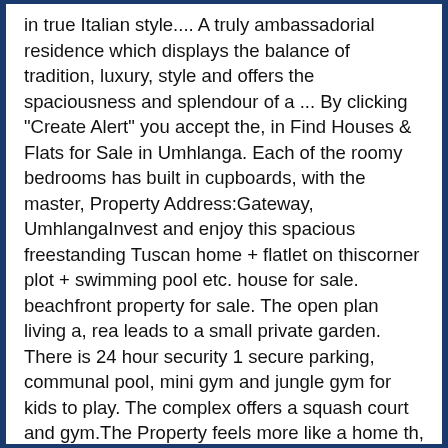in true Italian style.... A truly ambassadorial residence which displays the balance of tradition, luxury, style and offers the spaciousness and splendour of a ... By clicking "Create Alert" you accept the, in Find Houses & Flats for Sale in Umhlanga. Each of the roomy bedrooms has built in cupboards, with the master, Property Address:Gateway, UmhlangaInvest and enjoy this spacious freestanding Tuscan home + flatlet on thiscorner plot + swimming pool etc. house for sale. beachfront property for sale. The open plan living a, rea leads to a small private garden. There is 24 hour security 1 secure parking, communal pool, mini gym and jungle gym for kids to play. The complex offers a squash court and gym.The Property feels more like a home th, Luxury Living - Direct Access to Umhlanga Beach, The entrance hall opens into a spacious lounge, dining room and kitchen leading out to a wonderful wooden deck which has slight sea views.3 Bedrooms upstairs with main en-suite. this unit offers a bedroom